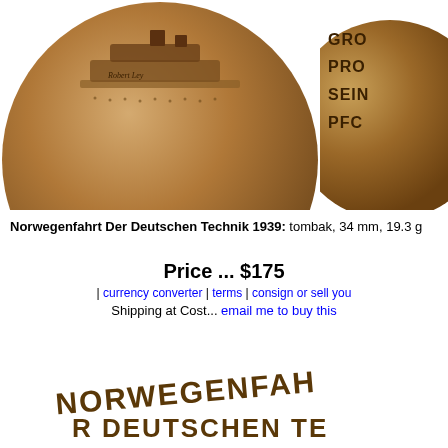[Figure (photo): Top-left: bronze/tombak medal showing a cruise ship (Robert Ley) with text '10-16. V. 1939' along the bottom arc. Top-right: partial view of another bronze medal with partial text 'GRO... PROB... SEINE... PFC...']
Norwegenfahrt Der Deutschen Technik 1939: tombak, 34 mm, 19.3 g
Price ... $175
| currency converter | terms | consign or sell your
Shipping at Cost... email me to buy this
[Figure (photo): Bottom: close-up of the reverse of the bronze medal showing raised lettering 'NORWEGENFAHRT' and 'DEUTSCHEN TE...' (Deutschen Technik), partially cropped circle]